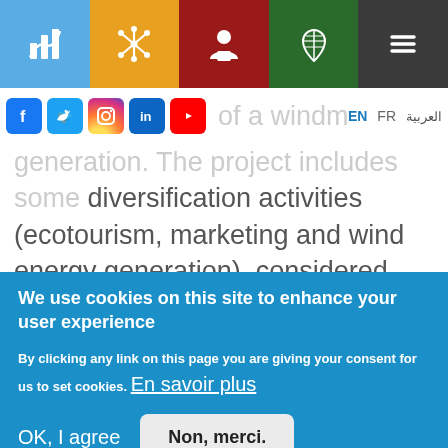[Figure (screenshot): Navigation bar with 5 colored sections: blue (chart icon), orange (star/network icon), dark red (person icon), green (leaf icon), dark gray (hamburger menu icon)]
[Figure (screenshot): Social media icons row (Facebook, Twitter, Instagram, LinkedIn, YouTube) and language selector (EN, FR, العربية)]
of a windmill for energy generation. The project includes some diversification activities (ecotourism, marketing and wind energy generation), considered positive for MedArtSal by both
We use cookies on this site to enhance your user experience
By clicking any link on this page you are giving your consent for us to set cookies.
En savoir plus
OK, I agree
Non, merci.